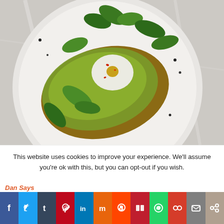[Figure (photo): Top-down view of avocado toast on a white plate with a poached egg, fresh spinach leaves, red pepper flakes, and black pepper on a marble surface]
This website uses cookies to improve your experience. We'll assume you're ok with this, but you can opt-out if you wish.
Dan Says
[Figure (other): Social media sharing bar with icons: Facebook, Twitter, Tumblr, Pinterest, LinkedIn, Mix, Reddit, BuzzFeed, WhatsApp, Myspace, Email, Share]